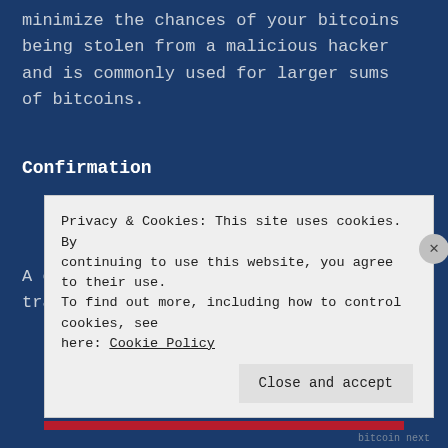minimize the chances of your bitcoins being stolen from a malicious hacker and is commonly used for larger sums of bitcoins.
Confirmation
A confirmation means that the bitcoin transaction has been verified by the
Privacy & Cookies: This site uses cookies. By continuing to use this website, you agree to their use. To find out more, including how to control cookies, see here: Cookie Policy
Close and accept